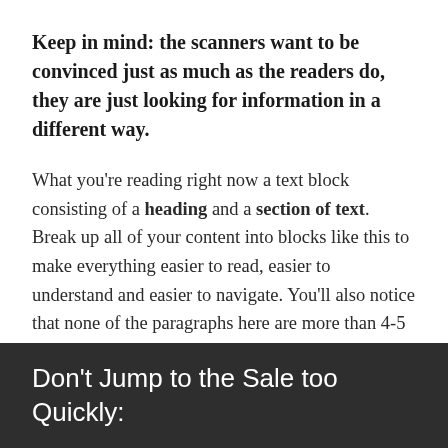Keep in mind: the scanners want to be convinced just as much as the readers do, they are just looking for information in a different way.
What you're reading right now a text block consisting of a heading and a section of text. Break up all of your content into blocks like this to make everything easier to read, easier to understand and easier to navigate. You'll also notice that none of the paragraphs here are more than 4-5 lines high (on a large screen, anyway. Yes - this page is fully mobile responsive).
Don't Jump to the Sale too Quickly: